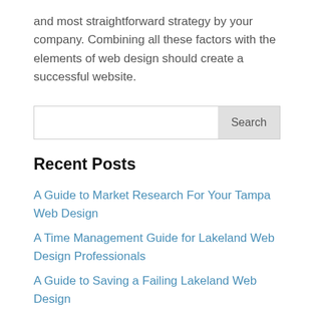and most straightforward strategy by your company. Combining all these factors with the elements of web design should create a successful website.
[Figure (other): Search input box with Search button]
Recent Posts
A Guide to Market Research For Your Tampa Web Design
A Time Management Guide for Lakeland Web Design Professionals
A Guide to Saving a Failing Lakeland Web Design
Social Media Buttons In Lakeland Web Design
Important Reasons to Update Your Lakeland